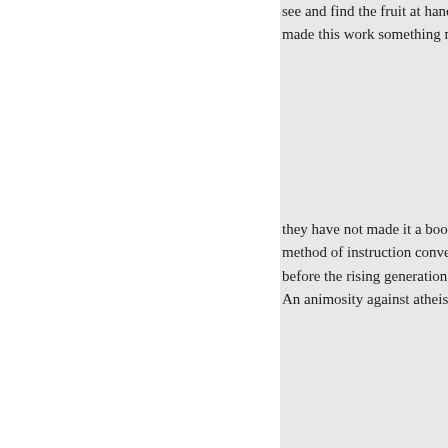see and find the fruit at hand. Th made this work something more
they have not made it a book of t method of instruction conveyed b before the rising generation, and An animosity against atheists an
be ful, as a record; but that antid should be served up apart, and n bitterness to every page: for who travelling companions? A tourist changes which may take place in his political portraits and deducti particularly if they obstruct, his a
Neither encomium nor accusatio stated as an incontrovertible fact, system, or by the disappointment has been so con-siderable, and is entirely out of date, but even to t